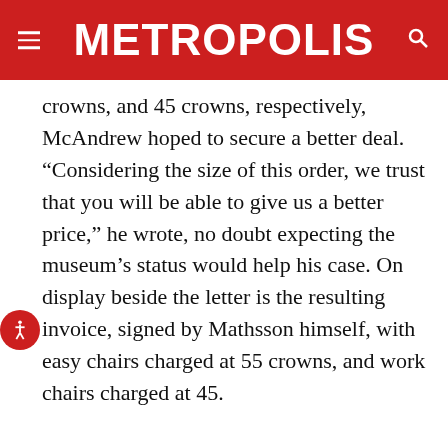METROPOLIS
crowns, and 45 crowns, respectively, McAndrew hoped to secure a better deal. “Considering the size of this order, we trust that you will be able to give us a better price,” he wrote, no doubt expecting the museum’s status would help his case. On display beside the letter is the resulting invoice, signed by Mathsson himself, with easy chairs charged at 55 crowns, and work chairs charged at 45.